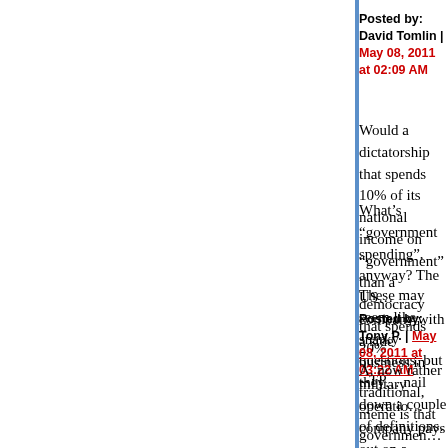Posted by: David Tomlin | May 08, 2011 at 02:09 AM
Would a dictatorship that spends 10% of its national income on "government" than a democracy that spends 20%
What's "government spending", anyway? The US... company with a side business in military operations... company pays out on a claim, is that "insurance c...
These may seem like snarky questions, but they... nail down a couple of definitions.
--TP
Posted by: Tony P. | May 08, 2011 at 03:22 AM
A, now rather traditional, meme is that government... to be expected to be pro-government is like the th... for giving parts of the loot to a charity you might b... surprising that those who publically love this mem... thug/thief for their own purposes (esp. if they own... benfit exclusively themselves).
As far as dictatorships go, they often start more e...